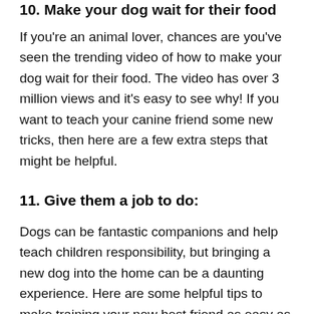10. Make your dog wait for their food
If you're an animal lover, chances are you've seen the trending video of how to make your dog wait for their food. The video has over 3 million views and it's easy to see why! If you want to teach your canine friend some new tricks, then here are a few extra steps that might be helpful.
11. Give them a job to do:
Dogs can be fantastic companions and help teach children responsibility, but bringing a new dog into the home can be a daunting experience. Here are some helpful tips to make training your new best friend as easy as possible.